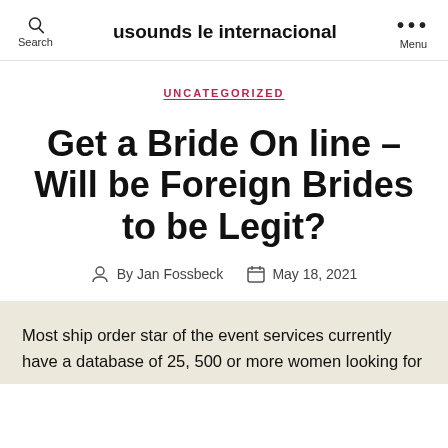usounds le internacional
UNCATEGORIZED
Get a Bride On line – Will be Foreign Brides to be Legit?
By Jan Fossbeck  May 18, 2021
Most ship order star of the event services currently have a database of 25, 500 or more women looking for